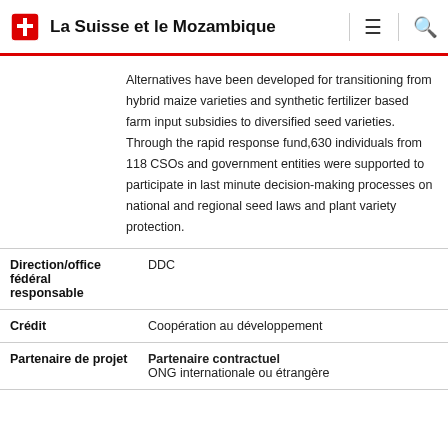La Suisse et le Mozambique
Alternatives have been developed for transitioning from hybrid maize varieties and synthetic fertilizer based farm input subsidies to diversified seed varieties. Through the rapid response fund,630 individuals from 118 CSOs and government entities were supported to participate in last minute decision-making processes on national and regional seed laws and plant variety protection.
| Direction/office fédéral responsable | DDC |
| Crédit | Coopération au développement |
| Partenaire de projet | Partenaire contractuel
ONG internationale ou étrangère |